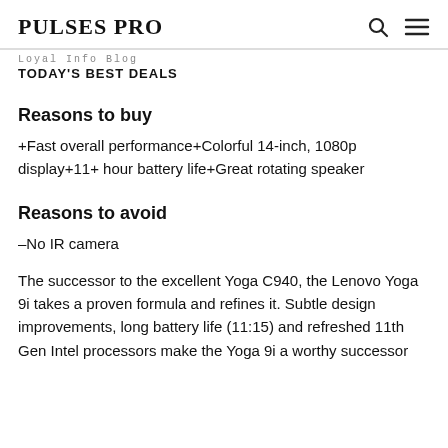PULSES PRO
Loyal Info Blog
TODAY'S BEST DEALS
Reasons to buy
+Fast overall performance+Colorful 14-inch, 1080p display+11+ hour battery life+Great rotating speaker
Reasons to avoid
–No IR camera
The successor to the excellent Yoga C940, the Lenovo Yoga 9i takes a proven formula and refines it. Subtle design improvements, long battery life (11:15) and refreshed 11th Gen Intel processors make the Yoga 9i a worthy successor